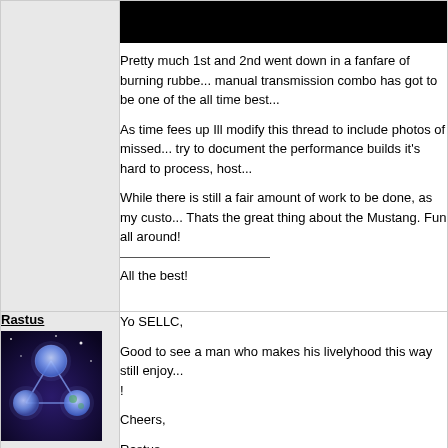[Figure (screenshot): Black banner image at top of post]
Pretty much 1st and 2nd went down in a fanfare of burning rubbe... manual transmission combo has got to be one of the all time best...
As time fees up Ill modify this thread to include photos of missed... try to document the performance builds it's hard to process, host...
While there is still a fair amount of work to be done, as my custo... Thats the great thing about the Mustang. Fun all around!
All the best!
Rastus
[Figure (illustration): Space/planet themed avatar image with glowing orbs connected by lines]
FAR BEYOND DRIVEN
Yo SELLC,
Good to see a man who makes his livelyhood this way still enjoy...!
Cheers,
Rastus